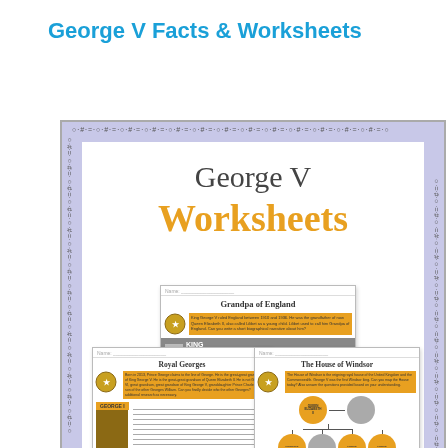George V Facts & Worksheets
[Figure (illustration): A decorated worksheet cover page with a purple/lavender ornamental border pattern. Inside the border on a white background: the title 'George V' in dark grey serif font and 'Worksheets' in large bold orange/gold serif font. Below are three overlapping worksheet preview cards showing: 'Grandpa of England' worksheet with a royal crest and orange text box, a King George V info card with a historical photo, 'Royal Georges' worksheet with a royal crest and orange text box and a portrait of George I, and 'The House of Windsor' worksheet with a royal crest, orange text box, and a family tree org chart with gold circles.]